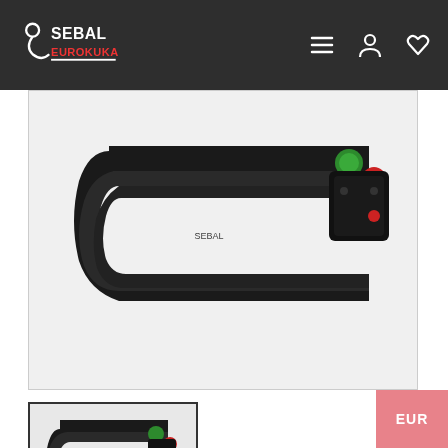SEBAL EUROKUKA — navigation bar with logo, menu, account and wishlist icons
[Figure (photo): Close-up photo of a black tow bar / trailer hitch (Eurokuka Sebal EU5) with green and red button mechanisms, on a white background]
[Figure (photo): Small thumbnail of the same tow bar product with Sebal Eurokuka watermark overlay]
EUROKUKA SEBAL EU5 CITROEN C5 AIRCROSS 2018-